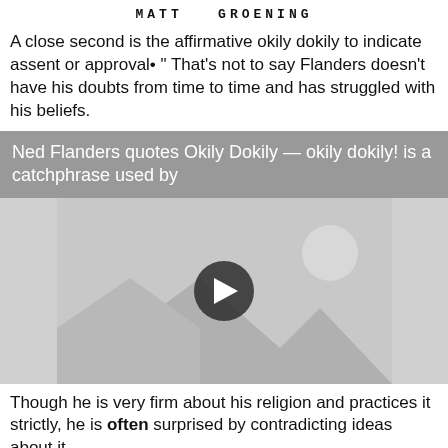MATT GROENING
A close second is the affirmative okily dokily to indicate assent or approval• " That's not to say Flanders doesn't have his doubts from time to time and has struggled with his beliefs.
Ned Flanders quotes Okily Dokily — okily dokily! is a catchphrase used by
[Figure (other): Video thumbnail placeholder with play button, showing a generic image placeholder graphic with triangles]
Though he is very firm about his religion and practices it strictly, he is often surprised by contradicting ideas about it.
40 Best Ned Flanders Quotes From 'The Simpsons' by Kidadl